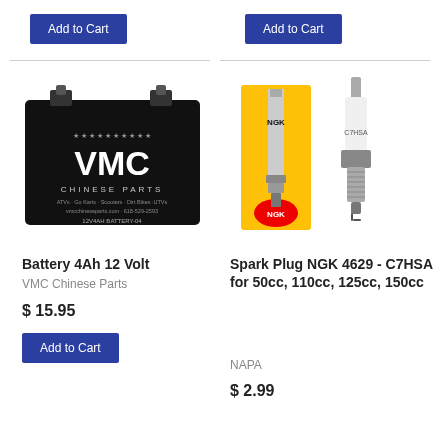[Figure (photo): Add to Cart button (top left)]
[Figure (photo): Add to Cart button (top right)]
[Figure (photo): VMC Chinese Parts 12V 4AH Battery product photo - black rectangular battery with VMC logo]
Battery 4Ah 12 Volt
VMC Chinese Parts
$ 15.95
[Figure (photo): NGK Spark Plug C7HSA product photo showing yellow NGK box and loose spark plug]
Spark Plug NGK 4629 - C7HSA for 50cc, 110cc, 125cc, 150cc
NAPA
$ 2.99
[Figure (photo): Add to Cart button (bottom left)]